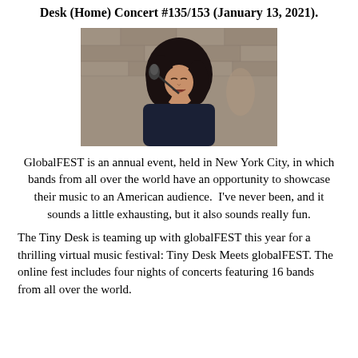Desk (Home) Concert #135/153 (January 13, 2021).
[Figure (photo): A woman with dark hair singing into a microphone, eyes closed, in what appears to be an outdoor or stone-walled venue.]
GlobalFEST is an annual event, held in New York City, in which bands from all over the world have an opportunity to showcase their music to an American audience.  I've never been, and it sounds a little exhausting, but it also sounds really fun.
The Tiny Desk is teaming up with globalFEST this year for a thrilling virtual music festival: Tiny Desk Meets globalFEST. The online fest includes four nights of concerts featuring 16 bands from all over the world.